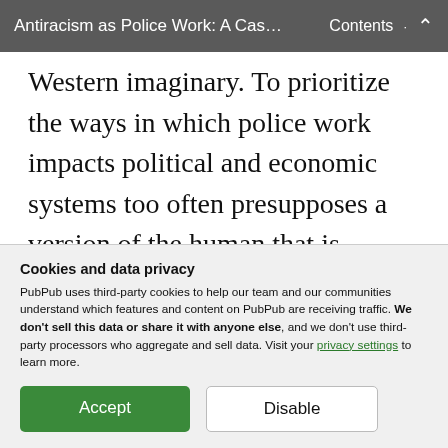Antiracism as Police Work: A Cas… Contents ∧
Western imaginary. To prioritize the ways in which police work impacts political and economic systems too often presupposes a version of the human that is singular and falsely universal. In doing so, antiracist work is itself a form of police work in that it fails to recognize and engage with the foundational and structural aspects of
Cookies and data privacy
PubPub uses third-party cookies to help our team and our communities understand which features and content on PubPub are receiving traffic. We don't sell this data or share it with anyone else, and we don't use third-party processors who aggregate and sell data. Visit your privacy settings to learn more.
Accept  Disable